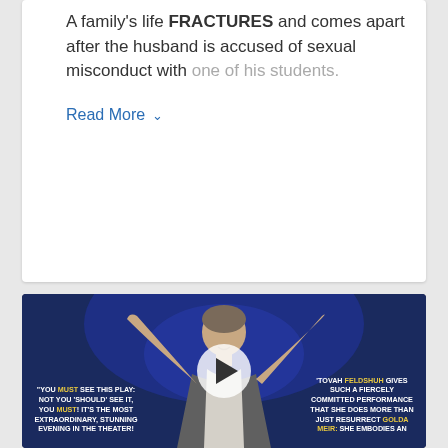A family's life FRACTURES and comes apart after the husband is accused of sexual misconduct with one of his students.
Read More >
[Figure (photo): A woman (Tovah Feldshuh) on stage with arms raised, smiling, with theater review quotes overlaid. Left quote: 'YOU MUST SEE THIS PLAY: NOT YOU SHOULD SEE IT, YOU MUST! IT'S THE MOST EXTRAORDINARY, STUNNING EVENING IN THE THEATER!' Right quote: 'TOVAH FELDSHUH GIVES SUCH A FIERCELY COMMITTED PERFORMANCE THAT SHE DOES MORE THAN JUST RESURRECT GOLDA MEIR: SHE EMBODIES AN...']